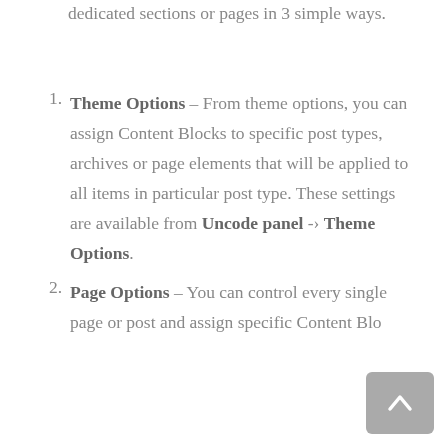dedicated sections or pages in 3 simple ways.
Theme Options – From theme options, you can assign Content Blocks to specific post types, archives or page elements that will be applied to all items in particular post type. These settings are available from Uncode panel -> Theme Options.
Page Options – You can control every single page or post and assign specific Content Blocks through Page Options.